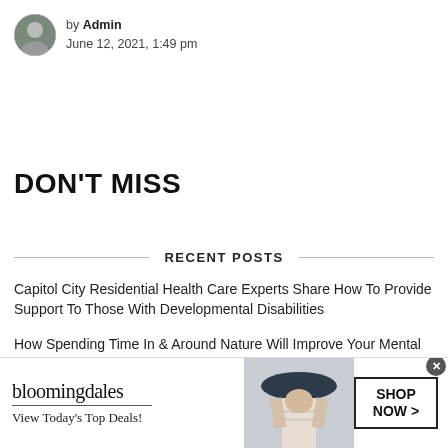by Admin
June 12, 2021, 1:49 pm
DON'T MISS
RECENT POSTS
Capitol City Residential Health Care Experts Share How To Provide Support To Those With Developmental Disabilities
How Spending Time In & Around Nature Will Improve Your Mental Health
[Figure (other): Bloomingdale's advertisement banner: logo, 'View Today's Top Deals!', woman in sun hat photo, 'SHOP NOW >' button]